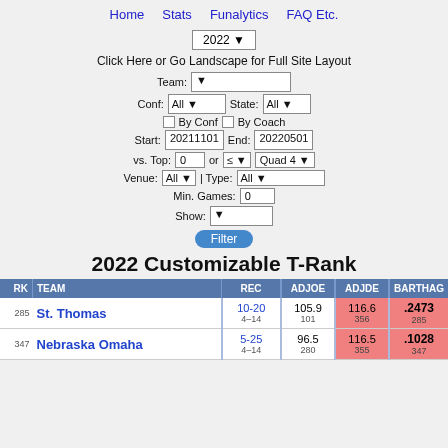Home   Stats   Funalytics   FAQ Etc.
2022 ▾
Click Here or Go Landscape for Full Site Layout
Team: [dropdown]  Conf: All [dropdown]  State: All [dropdown]  □ By Conf  □ By Coach  Start: 20211101  End: 20220501  vs. Top: 0  or  ≤ ▾  Quad 4 ▾  Venue: All ▾ | Type: All ▾  Min. Games: 0  Show: [dropdown]  Filter
2022 Customizable T-Rank
| RK | TEAM | REC | ADJOE | ADJDE | BARTHAG |
| --- | --- | --- | --- | --- | --- |
| 285 | St. Thomas | 10-20
4–14 | 105.9
101 | 116.6
356 | .2473
285 |
| 347 | Nebraska Omaha | 5-25
4–14 | 96.5
280 | 116.5
355 | .1028
347 |